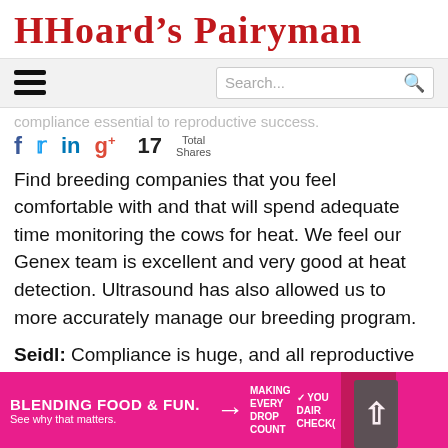[Figure (logo): Hoard's Dairyman logo in red decorative serif font]
[Figure (screenshot): Navigation bar with hamburger menu and search box]
compliance essential to reproductive success.
[Figure (infographic): Social share icons: Facebook, Twitter, LinkedIn, Google+, with 17 Total Shares count]
Find breeding companies that you feel comfortable with and that will spend adequate time monitoring the cows for heat. We feel our Genex team is excellent and very good at heat detection. Ultrasound has also allowed us to more accurately manage our breeding program.
Seidl: Compliance is huge, and all reproductive therapy
[Figure (infographic): Pink advertisement banner: BLENDING FOOD & FUN. See why that matters. MAKING EVERY DROP COUNT. YOUR DAIRY CHECKO...]